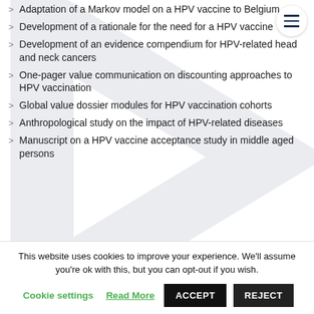Adaptation of a Markov model on a HPV vaccine to Belgium
Development of a rationale for the need for a HPV vaccine
Development of an evidence compendium for HPV-related head and neck cancers
One-pager value communication on discounting approaches to HPV vaccination
Global value dossier modules for HPV vaccination cohorts
Anthropological study on the impact of HPV-related diseases
Manuscript on a HPV vaccine acceptance study in middle aged persons
This website uses cookies to improve your experience. We'll assume you're ok with this, but you can opt-out if you wish.
Cookie settings   Read More   ACCEPT   REJECT